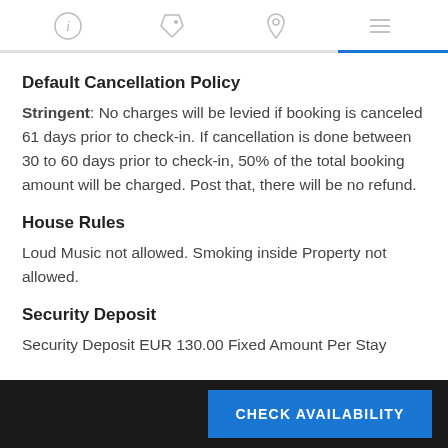[Navigation icons: info, tag, location, menu]
Default Cancellation Policy
Stringent: No charges will be levied if booking is canceled 61 days prior to check-in. If cancellation is done between 30 to 60 days prior to check-in, 50% of the total booking amount will be charged. Post that, there will be no refund.
House Rules
Loud Music not allowed. Smoking inside Property not allowed.
Security Deposit
Security Deposit EUR 130.00 Fixed Amount Per Stay
CHECK AVAILABILITY